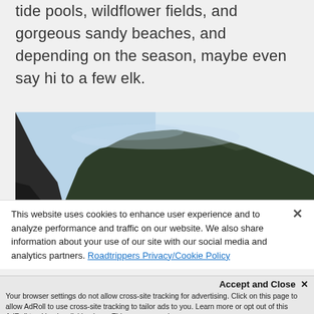tide pools, wildflower fields, and gorgeous sandy beaches, and depending on the season, maybe even say hi to a few elk.
[Figure (photo): A coastal mountain landscape with misty forested ridgeline against a clear blue sky, viewed from near dark rocky cliffs.]
This website uses cookies to enhance user experience and to analyze performance and traffic on our website. We also share information about your use of our site with our social media and analytics partners. Roadtrippers Privacy/Cookie Policy ×
Accept and Close × Your browser settings do not allow cross-site tracking for advertising. Click on this page to allow AdRoll to use cross-site tracking to tailor ads to you. Learn more or opt out of this AdRoll tracking by clicking here. This message only appears once.